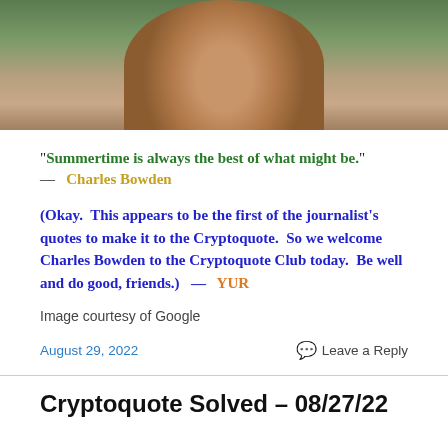[Figure (photo): Photograph of Charles Bowden, an older man in a tan jacket outdoors with green foliage in background]
“Summertime is always the best of what might be.”
—   Charles Bowden
(Okay.  This appears to be the first of the journalist’s quotes to make it to the Cryptoquote.  So we welcome Charles Bowden to the Cryptoquote Club today.  Be well and do good, friends.)  —   YUR
Image courtesy of Google
August 29, 2022
Leave a Reply
Cryptoquote Solved – 08/27/22